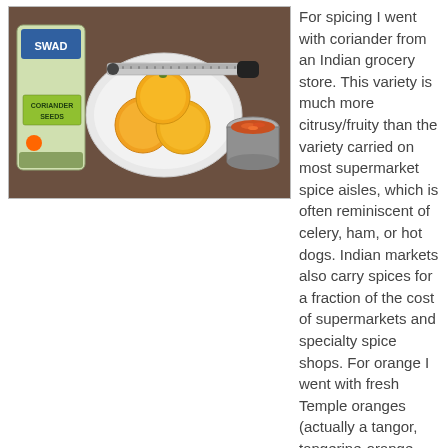[Figure (photo): Photo of ingredients: a bag of SWAD coriander seeds, a white plate with four yellow Temple oranges, a grater/Microplane tool, and a small metal cup containing orange zest, all on a dark brown surface.]
For spicing I went with coriander from an Indian grocery store. This variety is much more citrusy/fruity than the variety carried on most supermarket spice aisles, which is often reminiscent of celery, ham, or hot dogs. Indian markets also carry spices for a fraction of the cost of supermarkets and specialty spice shops. For orange I went with fresh Temple oranges (actually a tangor, tangerine-orange hybrid). I harvested the zest with a rasp/Microplane grater to minimize the amount of bitter pith collected.
I added both the coffee-grinder-crushed coriander and zest at the end of the boil. I find that late boil spice additions do not have the bright punch of post-fermentation spicing, but their character becomes more integrated as the enzymes